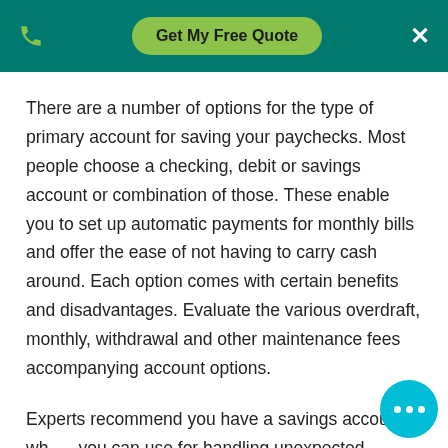Get My Free Quote
There are a number of options for the type of primary account for saving your paychecks. Most people choose a checking, debit or savings account or combination of those. These enable you to set up automatic payments for monthly bills and offer the ease of not having to carry cash around. Each option comes with certain benefits and disadvantages. Evaluate the various overdraft, monthly, withdrawal and other maintenance fees accompanying account options.
Experts recommend you have a savings account wh... you can use for handling unexpected financial expe... and emergencies, such as a broken arm, flat tire or hike in